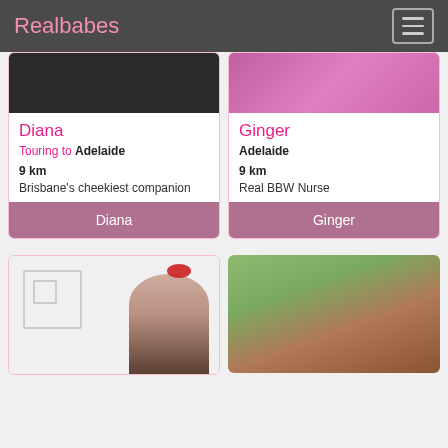Realbabes
[Figure (photo): Dark blurred top portion of Diana's profile photo]
Diana
Touring to Adelaide
9 km
Brisbane's cheekiest companion
Diana
[Figure (photo): Top portion of Ginger's profile photo showing pink lingerie]
Ginger
Adelaide
9 km
Real BBW Nurse
Ginger
[Figure (photo): Photo of dark-haired woman with red bow and red lips]
[Figure (photo): Photo of dark-haired woman with green foliage background]